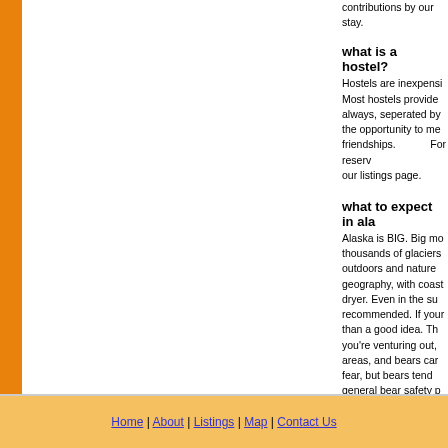contributions by our ... stay.
what is a hostel?
Hostels are inexpens... Most hostels provide ... always, seperated by ... the opportunity to me... friendships. For reserv... our listings page.
what to expect in ala...
Alaska is BIG. Big mo... thousands of glaciers ... outdoors and nature ... geography, with coast... dryer. Even in the su... recommended. If your... than a good idea. Th... you're venturing out, ... areas, and bears car... fear, but bears tend ... general bear safety p... respect all mama anim...
Home | About | Listings | Map | Contact Us